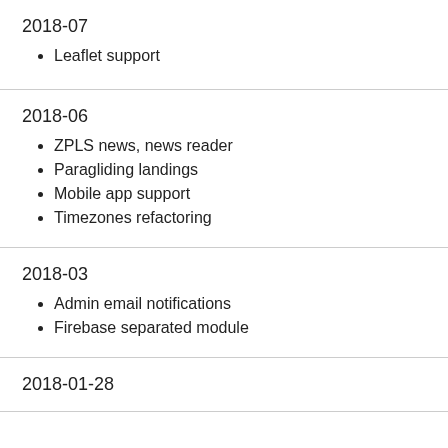2018-07
Leaflet support
2018-06
ZPLS news, news reader
Paragliding landings
Mobile app support
Timezones refactoring
2018-03
Admin email notifications
Firebase separated module
2018-01-28